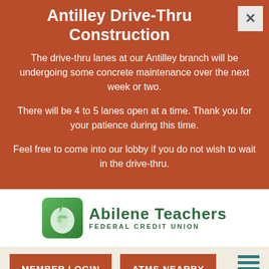Antilley Drive-Thru Construction
The drive-thru lanes at our Antilley branch will be undergoing some concrete maintenance over the next week or two.
There will be 4 to 5 lanes open at a time. Thank you for your patience during this time.
Feel free to come into our lobby if you do not wish to wait in the drive-thru.
[Figure (logo): Abilene Teachers Federal Credit Union logo with green apple icon and green text]
MEMBER LOGIN
ATMS NEARBY
Menu
[Figure (photo): Partial outdoor photo showing a person and trees]